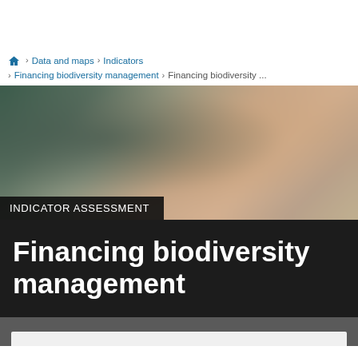Home > Data and maps > Indicators > Financing biodiversity management > Financing biodiversity ...
[Figure (photo): Blurred background photo showing people, used as hero banner image for the indicator assessment page]
INDICATOR ASSESSMENT
Financing biodiversity management